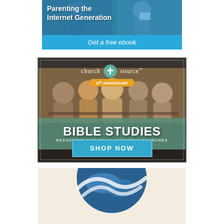[Figure (illustration): Advertisement for 'Parenting the Internet Generation' with photo of child on device and blue CTA bar 'Get a free ebook']
[Figure (illustration): Advertisement for ChurchSource Bible Studies - Resources for Small Groups & Churches, with group photo and 'SHOP NOW' button]
[Figure (illustration): Partial bottom advertisement with blue circular logo on beige background]